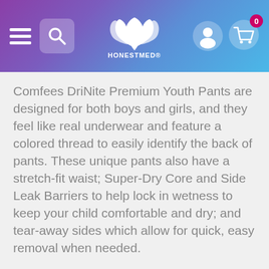[Figure (screenshot): HonestMed website header with gradient background (purple to blue). Contains hamburger menu icon, search box icon, HonestMed logo with lotus flower graphic and brand name, user account icon, and shopping cart icon with badge showing 0.]
Comfees DriNite Premium Youth Pants are designed for both boys and girls, and they feel like real underwear and feature a colored thread to easily identify the back of pants. These unique pants also have a stretch-fit waist; Super-Dry Core and Side Leak Barriers to help lock in wetness to keep your child comfortable and dry; and tear-away sides which allow for quick, easy removal when needed.
Features